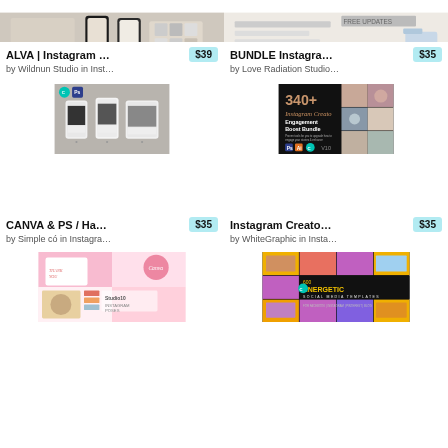[Figure (screenshot): Product thumbnail for ALVA Instagram template by Wildnun Studio - beige/cream mockup with phone]
ALVA | Instagram …  $39
by Wildnun Studio in Inst…
[Figure (screenshot): Product thumbnail for BUNDLE Instagram template by Love Radiation Studio - light minimal design]
BUNDLE Instagra…  $35
by Love Radiation Studio…
[Figure (screenshot): Product thumbnail for CANVA & PS Hashtag template by Simple co - three phones with black/white Instagram mockup]
CANVA & PS / Ha…  $35
by Simple có in Instagra…
[Figure (screenshot): Product thumbnail for Instagram Creator Engagement Boost Bundle by WhiteGraphic - 340+ items dark themed]
Instagram Creato…  $35
by WhiteGraphic in Insta…
[Figure (screenshot): Product thumbnail - pink/coral Canva Instagram poses template by Studio 10]
[Figure (screenshot): Product thumbnail - 600 Energetic Social Media Templates, black/yellow/purple design]